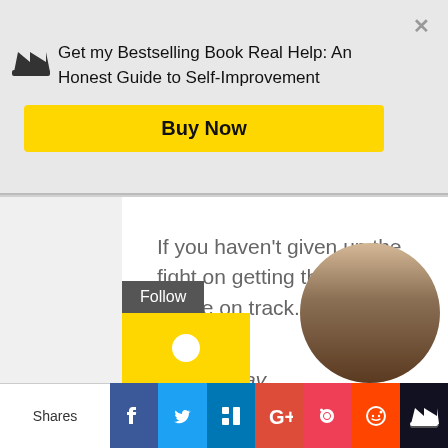Get my Bestselling Book Real Help: An Honest Guide to Self-Improvement
Buy Now
If you haven't given up the fight on getting that right, you're on track.
You're okay.
Follow
Shares